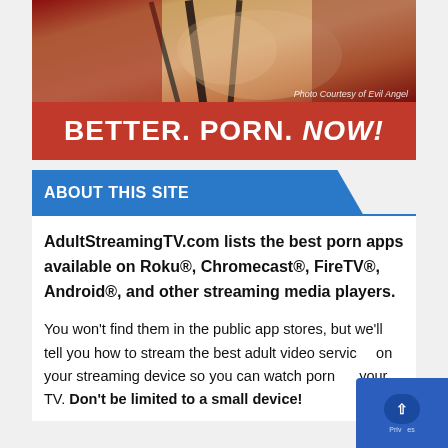[Figure (photo): Banner advertisement with photo at top and red bar reading BETTER. PORN. NOW! with photo credit 'Photo Courtesy of Evil Angel']
ABOUT THIS SITE
AdultStreamingTV.com lists the best porn apps available on Roku®, Chromecast®, FireTV®, Android®, and other streaming media players.
You won't find them in the public app stores, but we'll tell you how to stream the best adult video services on your streaming device so you can watch porn on your TV. Don't be limited to a small device!